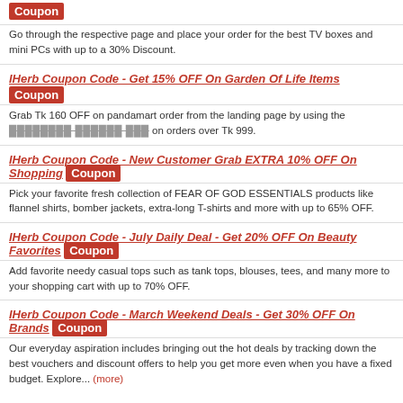Coupon
Go through the respective page and place your order for the best TV boxes and mini PCs with up to a 30% Discount.
IHerb Coupon Code - Get 15% OFF On Garden Of Life Items Coupon
Grab Tk 160 OFF on pandamart order from the landing page by using the [redacted text] on orders over Tk 999.
IHerb Coupon Code - New Customer Grab EXTRA 10% OFF On Shopping Coupon
Pick your favorite fresh collection of FEAR OF GOD ESSENTIALS products like flannel shirts, bomber jackets, extra-long T-shirts and more with up to 65% OFF.
IHerb Coupon Code - July Daily Deal - Get 20% OFF On Beauty Favorites Coupon
Add favorite needy casual tops such as tank tops, blouses, tees, and many more to your shopping cart with up to 70% OFF.
IHerb Coupon Code - March Weekend Deals - Get 30% OFF On Brands Coupon
Our everyday aspiration includes bringing out the hot deals by tracking down the best vouchers and discount offers to help you get more even when you have a fixed budget. Explore... (more)